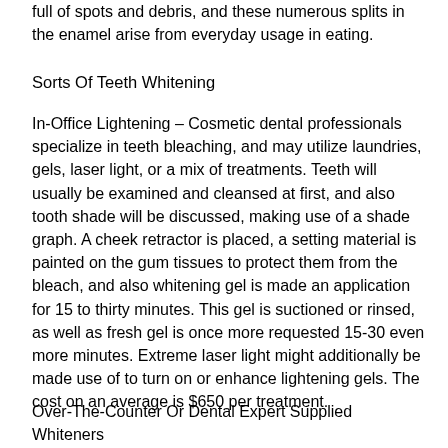full of spots and debris, and these numerous splits in the enamel arise from everyday usage in eating.
Sorts Of Teeth Whitening
In-Office Lightening – Cosmetic dental professionals specialize in teeth bleaching, and may utilize laundries, gels, laser light, or a mix of treatments. Teeth will usually be examined and cleansed at first, and also tooth shade will be discussed, making use of a shade graph. A cheek retractor is placed, a setting material is painted on the gum tissues to protect them from the bleach, and also whitening gel is made an application for 15 to thirty minutes. This gel is suctioned or rinsed, as well as fresh gel is once more requested 15-30 even more minutes. Extreme laser light might additionally be made use of to turn on or enhance lightening gels. The cost on an average is $650 per treatment.
Over-The-Counter Or Dental Expert Supplied Whiteners – The whiteners are utilized in a cycle on recently...